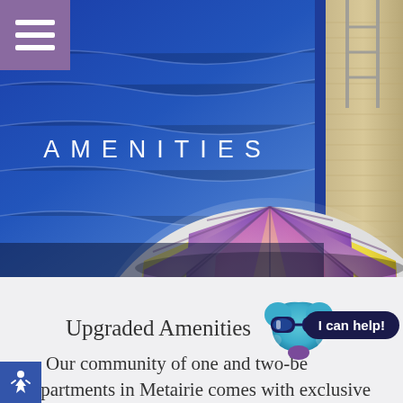[Figure (photo): Hero image of a colorful beach ball (yellow and purple/pink panels) resting at the edge of a blue swimming pool with pool ladder visible. Purple hamburger menu icon in top-left corner. Text 'AMENITIES' overlaid in white spaced letters in the center.]
AMENITIES
Upgraded Amenities
[Figure (illustration): Cartoon chatbot face icon with sunglasses, shaped like a rounded triangle/heart, teal colored, with a small purple chin piece. Next to it is a dark navy pill-shaped button reading 'I can help!']
Our community of one and two-bedroom apartments in Metairie comes with exclusive